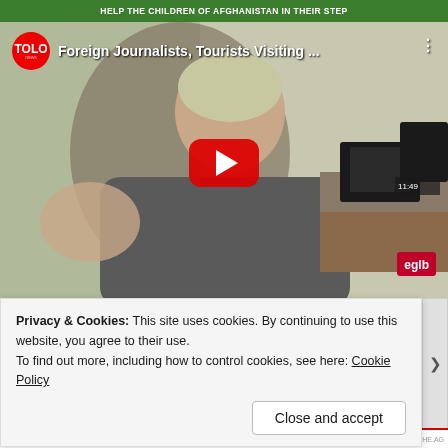HELP THE CHILDREN OF AFGHANISTAN IN THEIR STEP
[Figure (screenshot): YouTube video thumbnail showing a man being interviewed, with TOLO news logo and title 'Foreign Journalists, Tourists Visiting ...' with a red play button overlay]
Email Address
SUBSCRIBE
Privacy & Cookies: This site uses cookies. By continuing to use this website, you agree to their use.
To find out more, including how to control cookies, see here: Cookie Policy
Close and accept